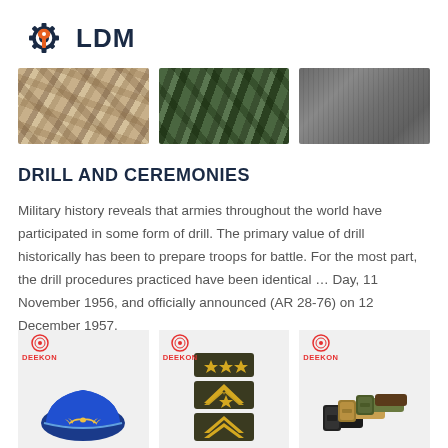[Figure (logo): LDM logo with gear and wrench icon in dark navy and orange]
[Figure (photo): Three fabric/camouflage swatches: desert camo, green camo, and dark grey fabric]
DRILL AND CEREMONIES
Military history reveals that armies throughout the world have participated in some form of drill. The primary value of drill historically has been to prepare troops for battle. For the most part, the drill procedures practiced have been identical … Day, 11 November 1956, and officially announced (AR 28-76) on 12 December 1957.
[Figure (photo): Three military product images with Deekon branding: blue military garrison cap, military rank patches with stars and chevrons, and tactical belts in various colors]
DEEKON